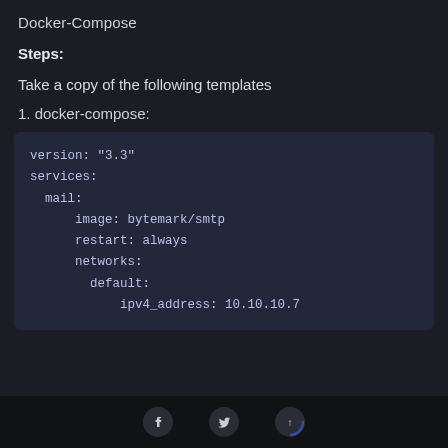Docker-Compose
Steps:
Take a copy of the following templates
1. docker-compose:
version: "3.3"
services:
  mail:
    image: bytemark/smtp
    restart: always
    networks:
      default:
        ipv4_address: 10.10.10.7
Facebook | Twitter | Scroll to top